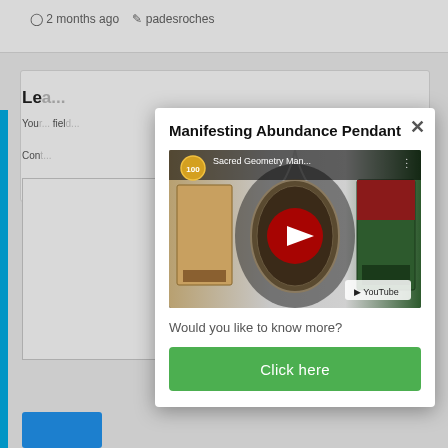2 months ago  padesroches
Le...
You... fiel...
Con...
Manifesting Abundance Pendant
[Figure (screenshot): YouTube video thumbnail showing Sacred Geometry Man... with a pendant on a chain, books, and a red YouTube play button. YouTube logo in bottom right. Gold badge with '100' in top left.]
Would you like to know more?
Click here